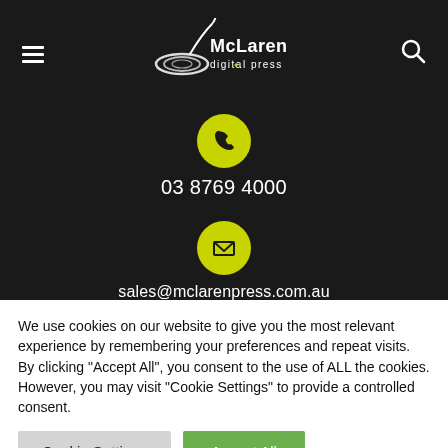[Figure (logo): McLaren Digital Press logo — white swirl graphic with text 'McLaren digital press' in white on dark background]
[Figure (illustration): Yellow circle with white phone handset icon]
03 8769 4000
[Figure (illustration): Yellow circle with white envelope/email icon]
sales@mclarenpress.com.au
[Figure (illustration): Yellow circle with white clock/time icon (partially visible)]
We use cookies on our website to give you the most relevant experience by remembering your preferences and repeat visits. By clicking "Accept All", you consent to the use of ALL the cookies. However, you may visit "Cookie Settings" to provide a controlled consent.
Cookie Settings
Accept All